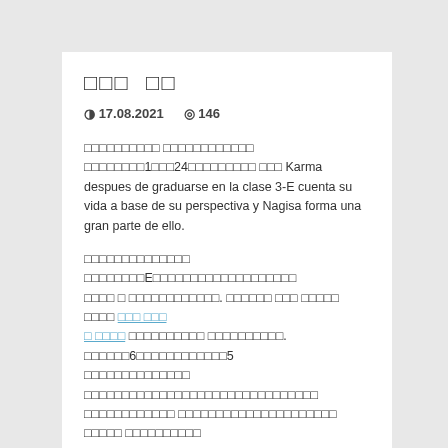□□□ □□
◑ 17.08.2021   👁 146
□□□□□□□□□□ □□□□□□□□□□□□□ □□□□□□□□□1□□□□24□□□□□□□□□ □□□ Karma despues de graduarse en la clase 3-E cuenta su vida a base de su perspectiva y Nagisa forma una gran parte de ello.
□□□□□□□□□□□□□□ □□□□□□□□E□□□□□□□□□□□□□□□□□□□ □□□□ □ □□□□□□□□□□□□□. □□□□□□ □□□ □□□□□ □□□□ □□□ □□□ □ □□□□ □□□□□□□□□□ □□□□□□□□□□. □□□□□□6□□□□□□□□□□□□□5 □□□□□□□□□□□□□□ □□□□□□□□□□□□□□□□□□□□□□□□□□□□□□ □□□□□□□□□□□□ □□□□□□□□□□□□□□□□□□□□□ □□□□□ □□□□□□□□□□